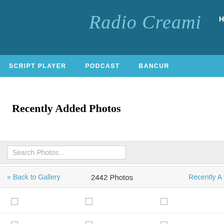Radio Creami
HOME  FOTO  VIDEO  M
SCRIPT PLAYER  PODCAST  BANCUR
Recently Added Photos
Search Photos...
« Back to Gallery    2442 Photos    Recently A